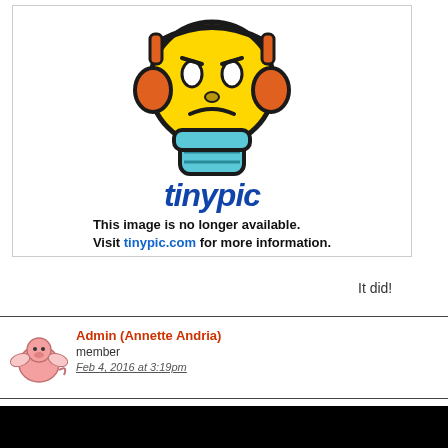[Figure (illustration): Tinypic 'image no longer available' placeholder showing a yellow frowning emoji with headphones and blue overalls, with the tinypic logo and message: 'This image is no longer available. Visit tinypic.com for more information.']
It did!
Admin (Annette Andria)
member
Feb 4, 2016 at 3:19pm